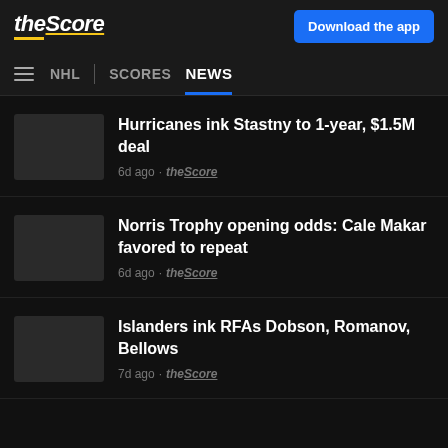theScore
Download the app
NHL | SCORES NEWS
Hurricanes ink Stastny to 1-year, $1.5M deal
6d ago · theScore
Norris Trophy opening odds: Cale Makar favored to repeat
6d ago · theScore
Islanders ink RFAs Dobson, Romanov, Bellows
7d ago · theScore